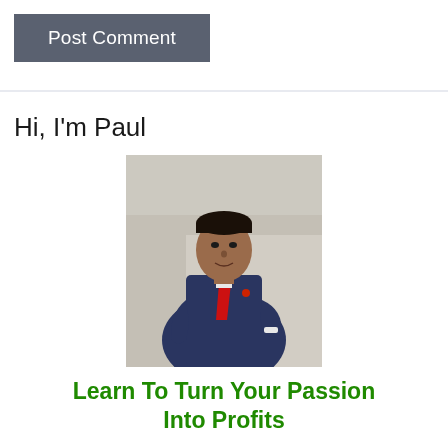Post Comment
Hi, I'm Paul
[Figure (photo): A man in a dark navy suit with a red tie, standing confidently with one hand on his hip against a light grey background.]
Learn To Turn Your Passion Into Profits